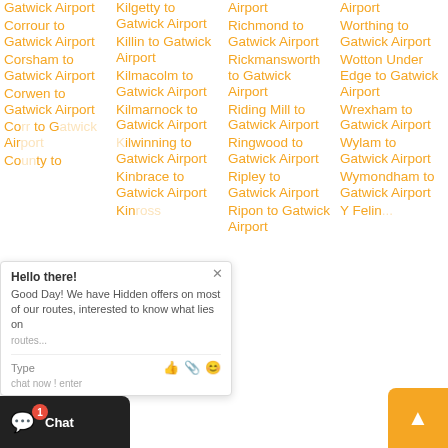Gatwick Airport
Corrour to Gatwick Airport
Corsham to Gatwick Airport
Corwen to Gatwick Airport
Co... to Gatwick Airport
Co... y to
Kilgetty to Gatwick Airport
Killin to Gatwick Airport
Kilmacolm to Gatwick Airport
Kilmarnock to Gatwick Airport
Kilwinning to Gatwick Airport
Kinbrace to Gatwick Airport
Kin...
Airport Richmond to Gatwick Airport
Rickmansworth to Gatwick Airport
Riding Mill to Gatwick Airport
Ringwood to Gatwick Airport
Ripley to Gatwick Airport
Ripon to Gatwick Airport
Airport Worthing to Gatwick Airport
Wotton Under Edge to Gatwick Airport
Wrexham to Gatwick Airport
Wylam to Gatwick Airport
Wymondham to Gatwick Airport
Y Felin...